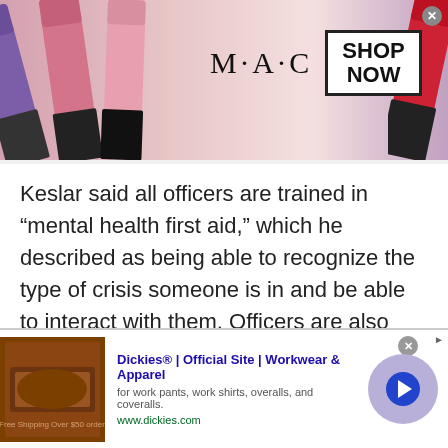[Figure (photo): MAC cosmetics advertisement banner showing lipsticks in purple, pink, and red shades with MAC logo and 'SHOP NOW' button]
Keslar said all officers are trained in “mental health first aid,” which he described as being able to recognize the type of crisis someone is in and be able to interact with them. Officers are also encouraged to attend critical intervention training, which provides more in-depth training for responding to mental health crises. About half of CPD officers have received CIT, while the national average is around 20-25 percent, Keslar said.
[Figure (screenshot): Dickies advertisement: 'Dickies® | Official Site | Workwear & Apparel - for work pants, work shirts, overalls, and coveralls. www.dickies.com']